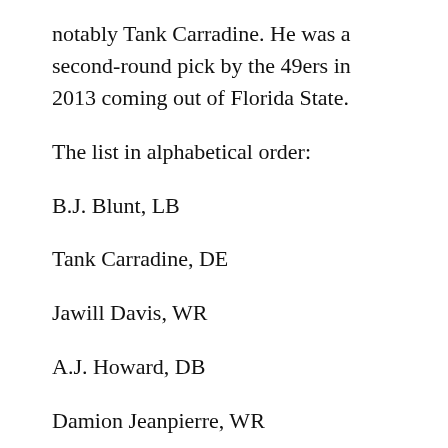notably Tank Carradine. He was a second-round pick by the 49ers in 2013 coming out of Florida State.
The list in alphabetical order:
B.J. Blunt, LB
Tank Carradine, DE
Jawill Davis, WR
A.J. Howard, DB
Damion Jeanpierre, WR